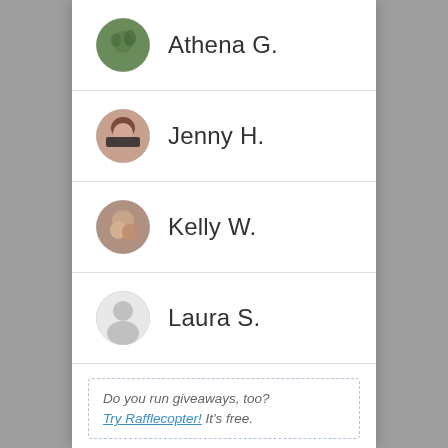Athena G.
Jenny H.
Kelly W.
Laura S.
Do you run giveaways, too? Try Rafflecopter! It's free.